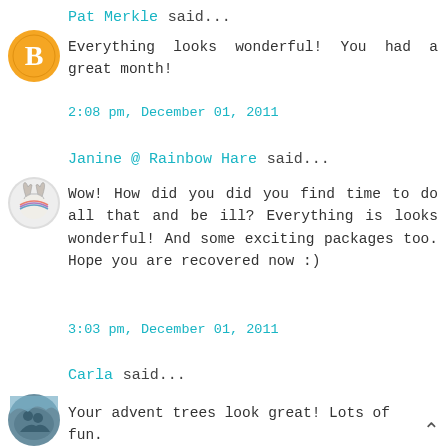Pat Merkle said...
[Figure (photo): Orange circle avatar with white letter B (Blogger default avatar)]
Everything looks wonderful! You had a great month!
2:08 pm, December 01, 2011
Janine @ Rainbow Hare said...
[Figure (photo): Small circular avatar showing colorful craft/embroidery image]
Wow! How did you did you find time to do all that and be ill? Everything is looks wonderful! And some exciting packages too. Hope you are recovered now :)
3:03 pm, December 01, 2011
Carla said...
[Figure (photo): Small circular avatar showing a landscape/people photo]
Your advent trees look great! Lots of fun.